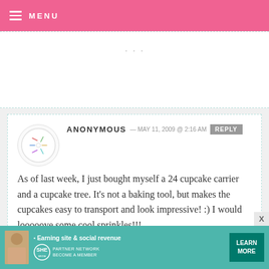MENU
(partial comment text, cropped)
ANONYMOUS — MAY 11, 2009 @ 2:16 AM  REPLY
As of last week, I just bought myself a 24 cupcake carrier and a cupcake tree. It's not a baking tool, but makes the cupcakes easy to transport and look impressive! :) I would looooove some cool sprinkles!!!
lauren.sauder@gmail.com
[Figure (infographic): SHE Partner Network advertisement banner: Earning site & social revenue, LEARN MORE button]